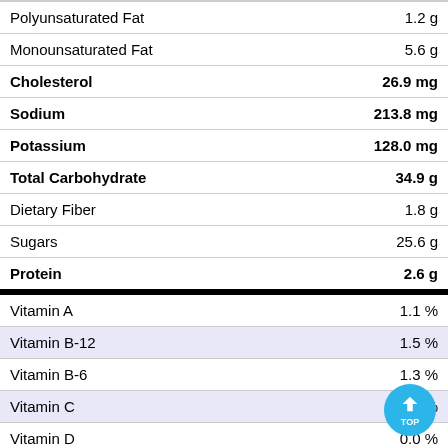| Nutrient | Amount |
| --- | --- |
| Polyunsaturated Fat | 1.2 g |
| Monounsaturated Fat | 5.6 g |
| Cholesterol | 26.9 mg |
| Sodium | 213.8 mg |
| Potassium | 128.0 mg |
| Total Carbohydrate | 34.9 g |
| Dietary Fiber | 1.8 g |
| Sugars | 25.6 g |
| Protein | 2.6 g |
| Vitamin A | 1.1 % |
| Vitamin B-12 | 1.5 % |
| Vitamin B-6 | 1.3 % |
| Vitamin C | 0.1 % |
| Vitamin D | 0.0 % |
| Vitamin E | 0 |